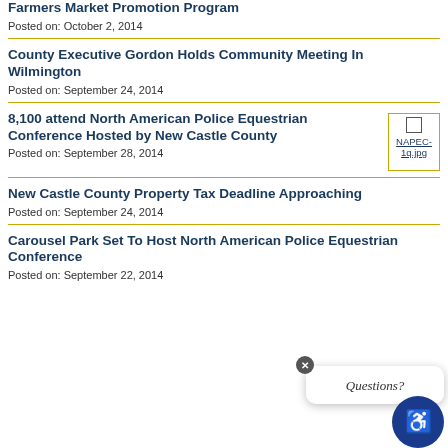Farmers Market Promotion Program
Posted on: October 2, 2014
County Executive Gordon Holds Community Meeting In Wilmington
Posted on: September 24, 2014
8,100 attend North American Police Equestrian Conference Hosted by New Castle County
[Figure (photo): Thumbnail image labeled NAPEC-1q.jpg with gold border]
Posted on: September 28, 2014
New Castle County Property Tax Deadline Approaching
Posted on: September 24, 2014
Carousel Park Set To Host North American Police Equestrian Conference
Posted on: September 22, 2014